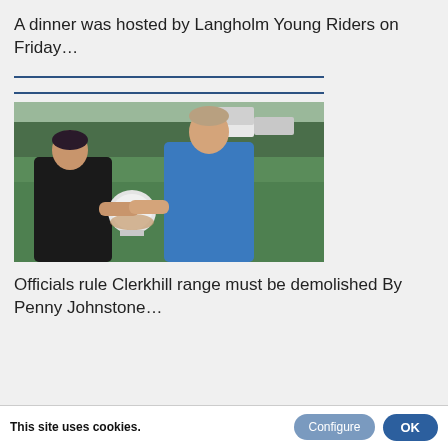A dinner was hosted by Langholm Young Riders on Friday…
[Figure (photo): Two people shaking hands outdoors at a sporting event — a woman on the left in a dark top and a young athletic man on the right in a blue vest holding a shield trophy, with a green field and crowd visible in the background.]
Officials rule Clerkhill range must be demolished By Penny Johnstone…
This site uses cookies.